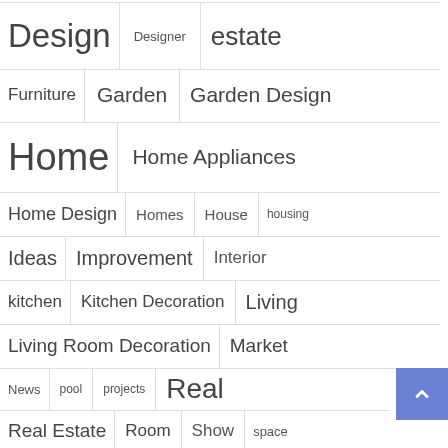Design   Designer   estate
Furniture   Garden   Garden Design
Home   Home Appliances
Home Design   Homes   House   housing
Ideas   Improvement   Interior
kitchen   Kitchen Decoration   Living
Living Room Decoration   Market
News   pool   projects   Real
Real Estate   Room   Show   space
spring   Swimming